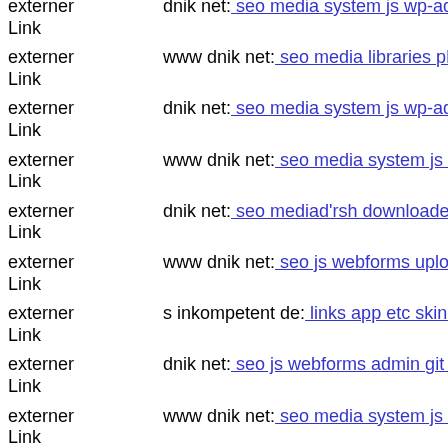externer Link  dnik net: seo media system js wp-admin includes plugins co
externer Link  www dnik net: seo media libraries phputf8 str parser php
externer Link  dnik net: seo media system js wp-admin includes plugins co
externer Link  www dnik net: seo media system js images stories vito php
externer Link  dnik net: seo mediad'rsh downloader index php
externer Link  www dnik net: seo js webforms upload components s inkom
externer Link  s inkompetent de: links app etc skin wp-content plugins sim
externer Link  dnik net: seo js webforms admin git head
externer Link  www dnik net: seo media system js wp-admin includes plug
externer Link  mail inkompetent de: links wp-content themes bold s inkom
externer Link  dnik net: seo admin dnik net
externer Link  www dnik net: seo components com b2jcontact ramz php